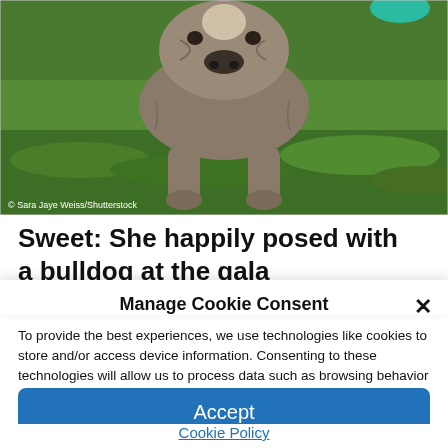[Figure (photo): A bulldog standing on green grass, viewed from the front/slightly above. The dog appears gray/brown colored. Green grass background. Copyright watermark reads '© Sara Jaye Weiss/Shutterstock']
© Sara Jaye Weiss/Shutterstock
Sweet: She happily posed with a bulldog at the gala
Manage Cookie Consent
To provide the best experiences, we use technologies like cookies to store and/or access device information. Consenting to these technologies will allow us to process data such as browsing behavior or unique IDs on this site. Not consenting or withdrawing consent, may adversely affect certain features and functions.
Accept
Cookie Policy